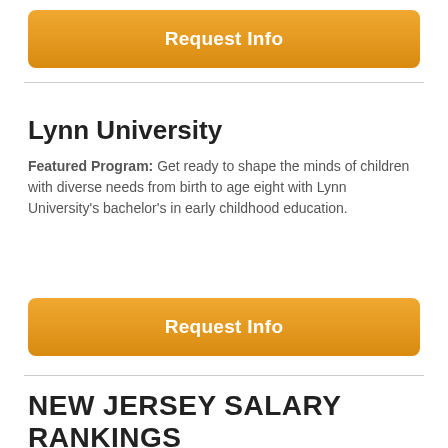[Figure (other): Orange Request Info button at top of page]
Lynn University
Featured Program: Get ready to shape the minds of children with diverse needs from birth to age eight with Lynn University's bachelor's in early childhood education.
[Figure (other): Orange Request Info button below university description]
NEW JERSEY SALARY RANKINGS